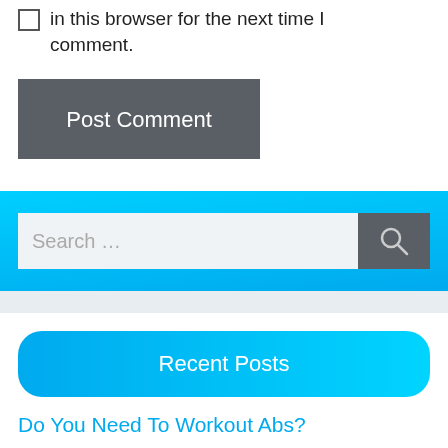in this browser for the next time I comment.
[Figure (screenshot): Post Comment button - dark gray rectangular button with white text]
[Figure (screenshot): Search bar with gray input field showing 'Search ...' placeholder and a dark gray search icon button, on a bright blue background]
[Figure (screenshot): Recent Posts button - rounded bright blue button with white text]
Do You Need To Workout Abs?